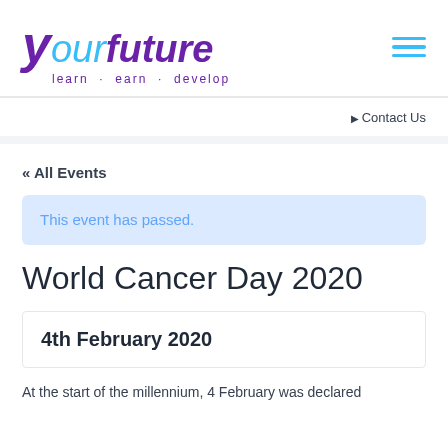[Figure (logo): Your Future logo with tagline 'learn · earn · develop' in purple and cyan colors]
Contact Us
« All Events
This event has passed.
World Cancer Day 2020
4th February 2020
At the start of the millennium, 4 February was declared